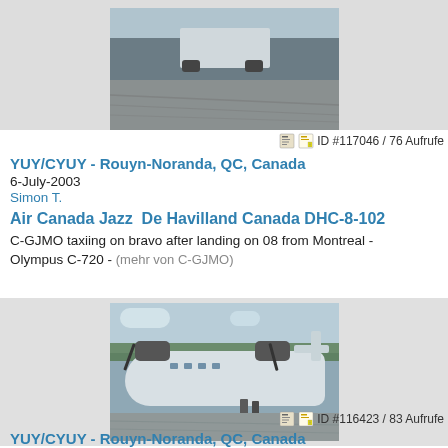[Figure (photo): Top portion of aircraft photo showing tail section on tarmac]
ID #117046 / 76 Aufrufe
YUY/CYUY - Rouyn-Noranda, QC, Canada
6-July-2003
Simon T.
Air Canada Jazz  De Havilland Canada DHC-8-102
C-GJMO taxiing on bravo after landing on 08 from Montreal - Olympus C-720 - (mehr von C-GJMO)
[Figure (photo): De Havilland Canada DHC-8-102 Air Canada Jazz aircraft parked on tarmac with ground crew]
ID #116423 / 83 Aufrufe
YUY/CYUY - Rouyn-Noranda, QC, Canada